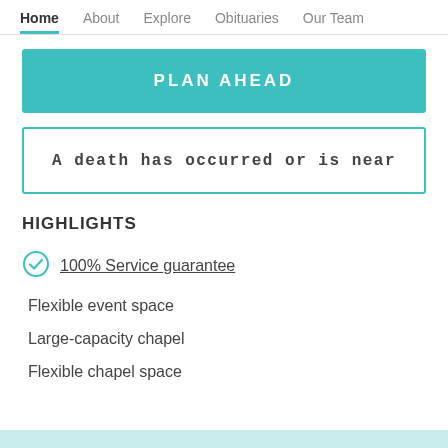Home | About | Explore | Obituaries | Our Team
PLAN AHEAD
A death has occurred or is near
HIGHLIGHTS
100% Service guarantee
Flexible event space
Large-capacity chapel
Flexible chapel space